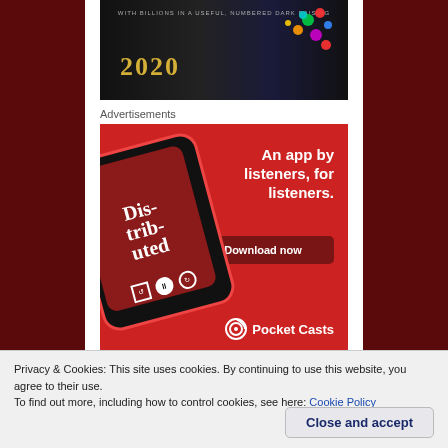[Figure (photo): Dark banner image with '2020' text in gold and colorful Christmas lights, partial view of festive scene]
Advertisements
[Figure (photo): Pocket Casts advertisement on red background showing a smartphone with the Pocket Casts app. Text reads 'An app by listeners, for listeners.' with a 'Download now' button and the Pocket Casts logo at bottom right.]
Privacy & Cookies: This site uses cookies. By continuing to use this website, you agree to their use.
To find out more, including how to control cookies, see here: Cookie Policy
Close and accept